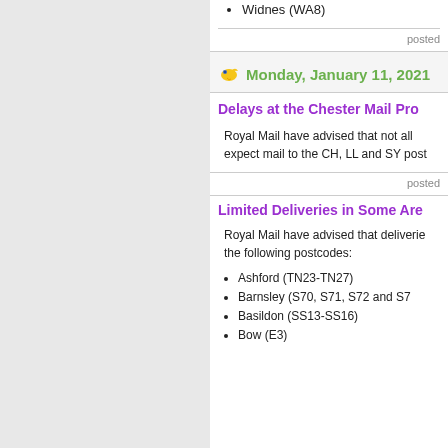Widnes (WA8)
posted
Monday, January 11, 2021
Delays at the Chester Mail Pro
Royal Mail have advised that not all mail to the CH, LL and SY post
posted
Limited Deliveries in Some Are
Royal Mail have advised that deliveries the following postcodes:
Ashford (TN23-TN27)
Barnsley (S70, S71, S72 and S7
Basildon (SS13-SS16)
Bow (E3)